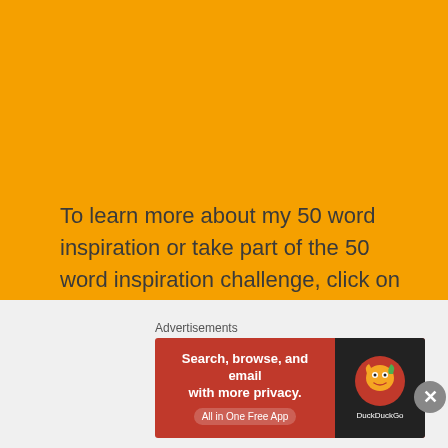To learn more about my 50 word inspiration or take part of the 50 word inspiration challenge, click on the link below:
50 WORD INSPIRATION CHALLENGE – CAN I INSPIRE YOU
Advertisements
[Figure (other): DuckDuckGo advertisement banner: 'Search, browse, and email with more privacy. All in One Free App' with DuckDuckGo logo on dark background]